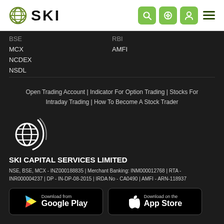[Figure (logo): SKI logo with globe icon and SKI text in header]
BSE
RBI
MCX
AMFI
NCDEX
NSDL
Open Trading Account | Indicator For Option Trading | Stocks For Intraday Trading | How To Become A Stock Trader
[Figure (logo): SKI globe logo in footer, white on dark background]
SKI CAPITAL SERVICES LIMITED
NSE, BSE, MCX - INZ000188835 | Merchant Banking: INM000012768 | RTA - INR000004237 | DP - IN-DP-08-2015 | IRDA No - CA0490 | AMFI - ARN-118937
[Figure (other): Download from Google Play button]
[Figure (other): Download on the App Store button]